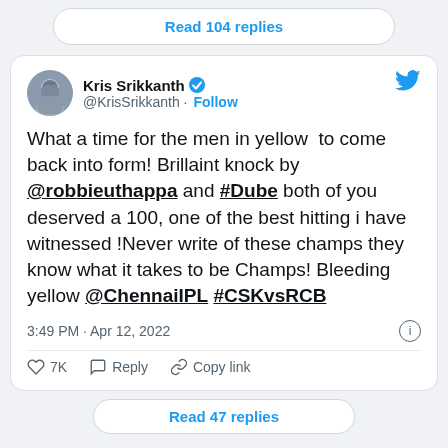Read 104 replies
[Figure (screenshot): Twitter/X profile avatar of Kris Srikkanth]
Kris Srikkanth @KrisSrikkanth · Follow
What a time for the men in yellow  to come back into form! Brillaint knock by @robbieuthappa and #Dube both of you deserved a 100, one of the best hitting i have witnessed !Never write of these champs they know what it takes to be Champs! Bleeding yellow @ChennaiIPL #CSKvsRCB
3:49 PM · Apr 12, 2022
7K  Reply  Copy link
Read 47 replies